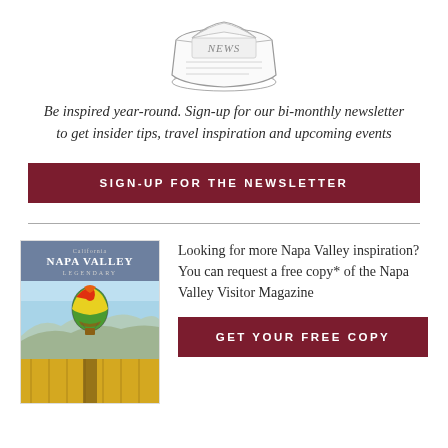[Figure (illustration): Sketch/line drawing of a folded newspaper with 'NEWS' text on it]
Be inspired year-round. Sign-up for our bi-monthly newsletter to get insider tips, travel inspiration and upcoming events
SIGN-UP FOR THE NEWSLETTER
[Figure (photo): Cover of the Napa Valley Legendary Visitor Magazine showing a hot air balloon over vineyard fields with yellow flowers]
Looking for more Napa Valley inspiration? You can request a free copy* of the Napa Valley Visitor Magazine
GET YOUR FREE COPY